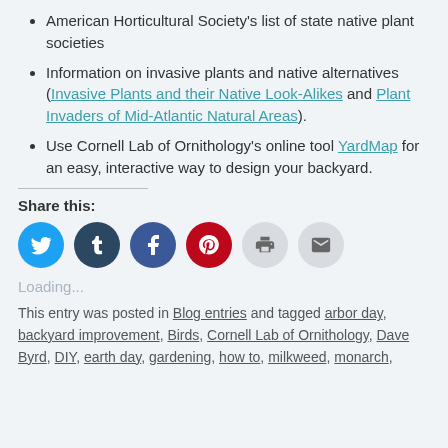American Horticultural Society's list of state native plant societies
Information on invasive plants and native alternatives (Invasive Plants and their Native Look-Alikes and Plant Invaders of Mid-Atlantic Natural Areas).
Use Cornell Lab of Ornithology's online tool YardMap for an easy, interactive way to design your backyard.
Share this:
[Figure (infographic): Social share buttons: Twitter (blue circle), Tumblr (dark blue circle), Facebook (blue circle), Pinterest (red circle), Print (light gray circle), Email (light gray circle)]
Loading...
This entry was posted in Blog entries and tagged arbor day, backyard improvement, Birds, Cornell Lab of Ornithology, Dave Byrd, DIY, earth day, gardening, how to, milkweed, monarch,